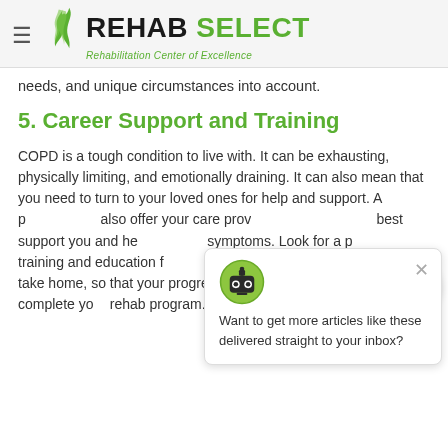REHAB SELECT — Rehabilitation Center of Excellence
needs, and unique circumstances into account.
5. Career Support and Training
COPD is a tough condition to live with. It can be exhausting, physically limiting, and emotionally draining. It can also mean that you need to turn to your loved ones for help and support. A p[rogram] also offer your care prov[iders information on how to] best support you and he[lp manage your] symptoms. Look for a p[rogram that offers] training and education f[or caregivers,] workshops, or resources to take home, so that your progress will continue even after you complete you[r] rehab program.
[Figure (screenshot): Chat popup widget with robot icon asking 'Want to get more articles like these delivered straight to your inbox?' with a close X button, and a teal circular chat button in the bottom right corner.]